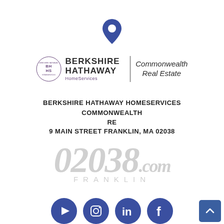[Figure (illustration): Dark blue/navy map location pin icon centered near top of page]
[Figure (logo): Berkshire Hathaway HomeServices Commonwealth Real Estate logo with circular BH/HS emblem, company name in bold, vertical divider, and Commonwealth Real Estate in italic script]
BERKSHIRE HATHAWAY HOMESERVICES COMMONWEALTH RE
9 MAIN STREET FRANKLIN, MA 02038
[Figure (illustration): Large watermark-style text reading '02038.com FRANKLIN' in light gray]
[Figure (illustration): Row of social media icons (YouTube, Instagram, LinkedIn, Facebook) in blue circles at bottom, plus a blue scroll-to-top button at bottom right]